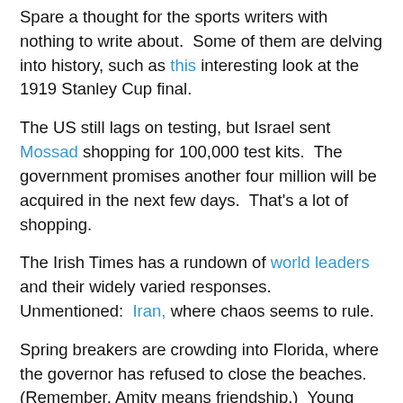Spare a thought for the sports writers with nothing to write about.  Some of them are delving into history, such as this interesting look at the 1919 Stanley Cup final.
The US still lags on testing, but Israel sent Mossad shopping for 100,000 test kits.  The government promises another four million will be acquired in the next few days.  That's a lot of shopping.
The Irish Times has a rundown of world leaders and their widely varied responses.  Unmentioned:  Iran, where chaos seems to rule.
Spring breakers are crowding into Florida, where the governor has refused to close the beaches.  (Remember, Amity means friendship.)  Young people always think they're immortal.  Who knows?  Maybe tequila and salt water will kill the virus.  Over at Fox, however, they know the kids are wild in the streets because of Alexandria Ocasio-Cortez, and more or less call for "martial law."
Every morning, CNN and MSNBC carry Andrew Cuomo's